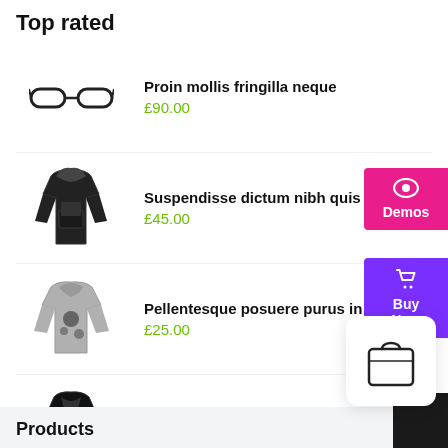Top rated
Proin mollis fringilla neque
£90.00
Suspendisse dictum nibh quis neque
£45.00
Pellentesque posuere purus in lacus
£25.00
Vestibulum ipsum quam accumsan
£20.00
Cras bibendum enim justo
£15.00 – £20.00
Products